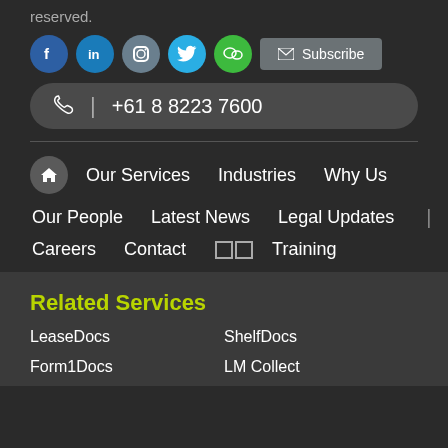reserved.
[Figure (other): Social media icons: Facebook, LinkedIn, Instagram, Twitter, WeChat, and a Subscribe button]
+61 8 8223 7600
Our Services   Industries   Why Us
Our People   Latest News   Legal Updates |
Careers   Contact   [icons]   Training
Related Services
LeaseDocs
ShelfDocs
Form1Docs
LM Collect